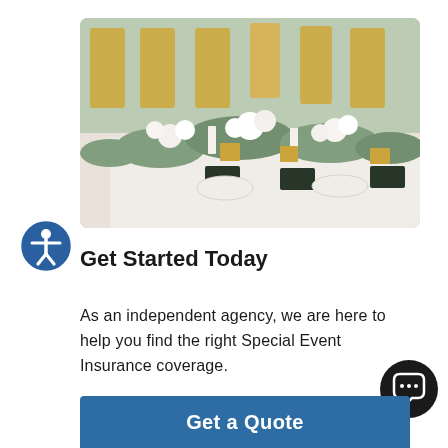[Figure (photo): Elegant wedding reception table setting with white floral centerpieces featuring eucalyptus greenery, gold chiavari chairs, white tablecloth, candles, and small chalkboard place settings.]
Get Started Today
As an independent agency, we are here to help you find the right Special Event Insurance coverage.
[Figure (other): Blue circular accessibility icon button with person figure]
[Figure (other): Dark circular chat/message bubble button]
Get a Quote